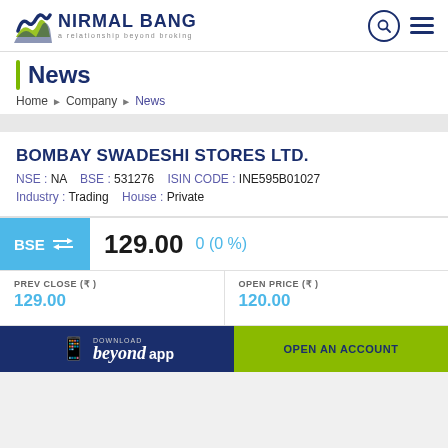[Figure (logo): Nirmal Bang logo with wave icon and tagline 'a relationship beyond broking']
News
Home > Company > News
BOMBAY SWADESHI STORES LTD.
NSE : NA   BSE : 531276   ISIN CODE : INE595B01027
Industry : Trading   House : Private
BSE ⇌ 129.00   0 (0 %)
PREV CLOSE (₹) 129.00
OPEN PRICE (₹) 120.00
[Figure (screenshot): Download beyond app banner]
OPEN AN ACCOUNT